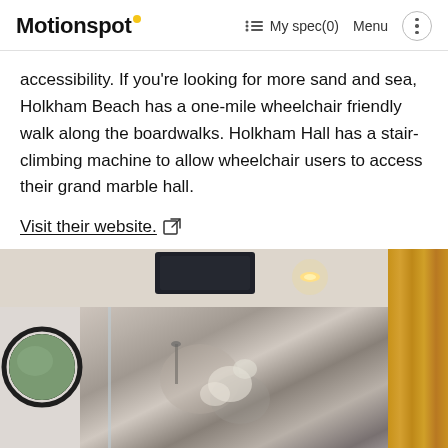Motionspot · My spec(0) · Menu
accessibility. If you're looking for more sand and sea, Holkham Beach has a one-mile wheelchair friendly walk along the boardwalks. Holkham Hall has a stair-climbing machine to allow wheelchair users to access their grand marble hall.
Visit their website.
[Figure (photo): Interior photo of an accessible bathroom with decorative floral-patterned wall tiles, a round mirror on the left, recessed lighting in the ceiling with a skylight, a glass shower enclosure, and a wood-paneled wall on the right.]